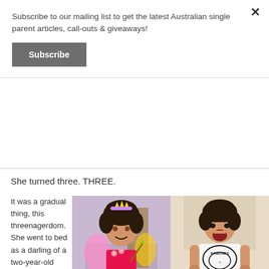Subscribe to our mailing list to get the latest Australian single parent articles, call-outs & giveaways!
Subscribe
She turned three. THREE.
It was a gradual thing, this threenagerdom. She went to bed as a darling of a two-year-old and woke as a darling three-year-old. The real change didn't happen overnight. I
[Figure (photo): Two photos side by side of a young girl. Left: dressed as a fairy princess in pink tutu with tiara, holding a wand. Right: wearing a Ramones t-shirt and pink skirt, mouth open wide.]